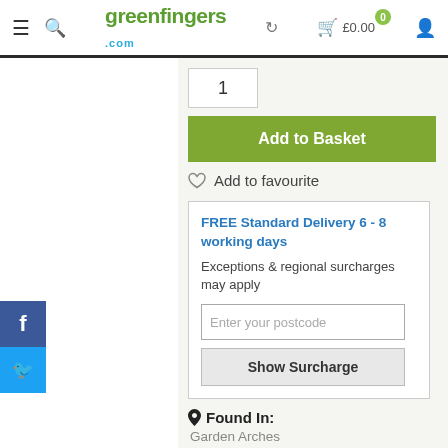greenfingers.com — £0.00 basket, 0 items
1
Add to Basket
Add to favourite
FREE Standard Delivery 6 - 8 working days
Exceptions & regional surcharges may apply
Enter your postcode
Show Surcharge
Found In:
Garden Arches